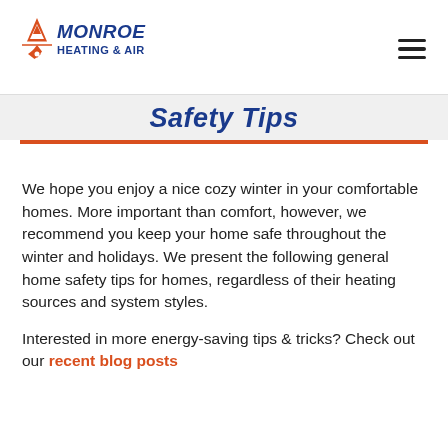[Figure (logo): Monroe Heating & Air logo with flame/snowflake icon and blue/red text]
Safety Tips
We hope you enjoy a nice cozy winter in your comfortable homes. More important than comfort, however, we recommend you keep your home safe throughout the winter and holidays. We present the following general home safety tips for homes, regardless of their heating sources and system styles.
Interested in more energy-saving tips & tricks? Check out our recent blog posts